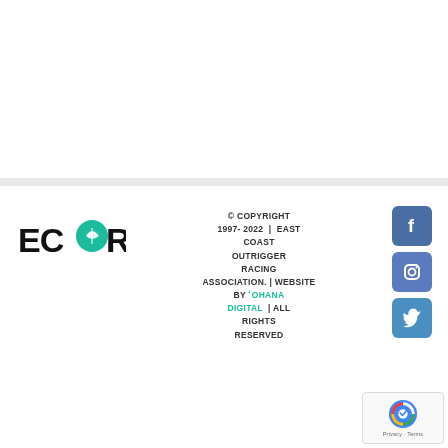[Figure (logo): ECORA logo - East Coast Outrigger Racing Association]
© COPYRIGHT 1997- 2022 | EAST COAST OUTRIGGER RACING ASSOCIATION. | WEBSITE BY ʻOHANA DIGITAL | ALL RIGHTS RESERVED
[Figure (illustration): Facebook social media icon button - blue square with white f]
[Figure (illustration): Instagram social media icon button - blue square with white camera icon]
[Figure (illustration): Twitter social media icon button - blue square with white bird icon]
[Figure (illustration): Google reCAPTCHA badge with Privacy and Terms links]